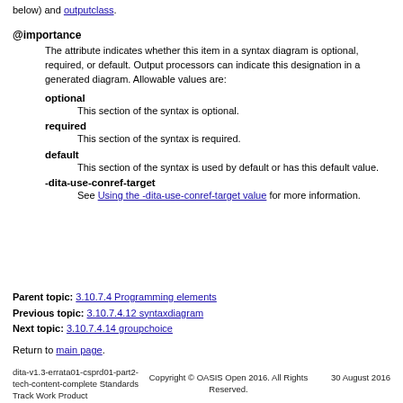below) and outputclass.
@importance
The attribute indicates whether this item in a syntax diagram is optional, required, or default. Output processors can indicate this designation in a generated diagram. Allowable values are:
optional — This section of the syntax is optional.
required — This section of the syntax is required.
default — This section of the syntax is used by default or has this default value.
-dita-use-conref-target — See Using the -dita-use-conref-target value for more information.
Parent topic: 3.10.7.4 Programming elements
Previous topic: 3.10.7.4.12 syntaxdiagram
Next topic: 3.10.7.4.14 groupchoice
Return to main page.
dita-v1.3-errata01-csprd01-part2-tech-content-complete Standards Track Work Product | Copyright © OASIS Open 2016. All Rights Reserved. | 30 August 2016